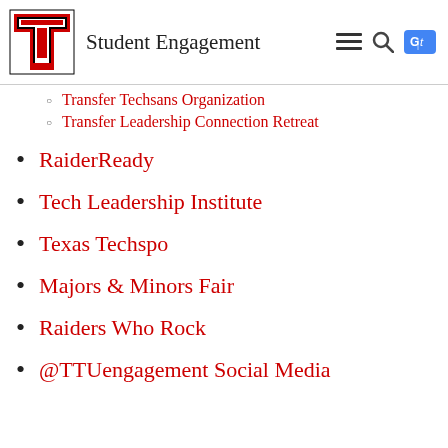Student Engagement
Transfer Techsans Organization
Transfer Leadership Connection Retreat
RaiderReady
Tech Leadership Institute
Texas Techspo
Majors & Minors Fair
Raiders Who Rock
@TTUengagement Social Media